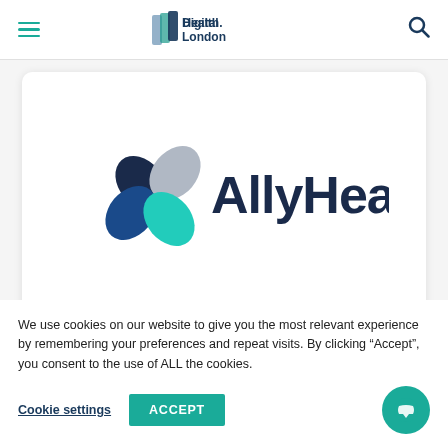DigitalHealth.London
[Figure (logo): AllyHealth logo — four teardrop/leaf shapes in dark navy, light grey, dark teal/blue, and bright teal forming a flower/cross pattern, with 'AllyHealth' text in dark navy sans-serif]
We use cookies on our website to give you the most relevant experience by remembering your preferences and repeat visits. By clicking "Accept", you consent to the use of ALL the cookies.
Cookie settings
ACCEPT